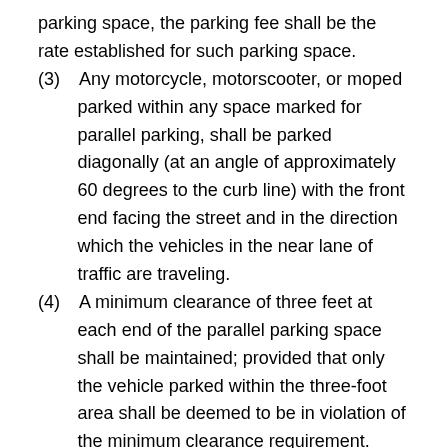parking space, the parking fee shall be the rate established for such parking space.
(3)    Any motorcycle, motorscooter, or moped parked within any space marked for parallel parking, shall be parked diagonally (at an angle of approximately 60 degrees to the curb line) with the front end facing the street and in the direction which the vehicles in the near lane of traffic are traveling.
(4)    A minimum clearance of three feet at each end of the parallel parking space shall be maintained; provided that only the vehicle parked within the three-foot area shall be deemed to be in violation of the minimum clearance requirement.
(5)    No person shall prevent the parking of additional motorcycles, motorscooters, or mopeds when space is available within any parallel parking space.
(6)    Any motorcycle, motorscooter, or moped parked